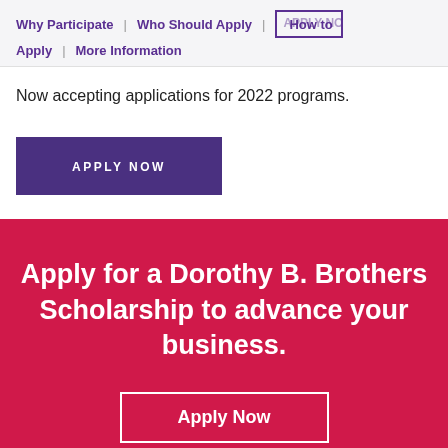Why Participate | Who Should Apply | APPLY NOW How to Apply | More Information
Now accepting applications for 2022 programs.
[Figure (other): Purple APPLY NOW button]
Apply for a Dorothy B. Brothers Scholarship to advance your business.
[Figure (other): Apply Now button with white border on pink background]